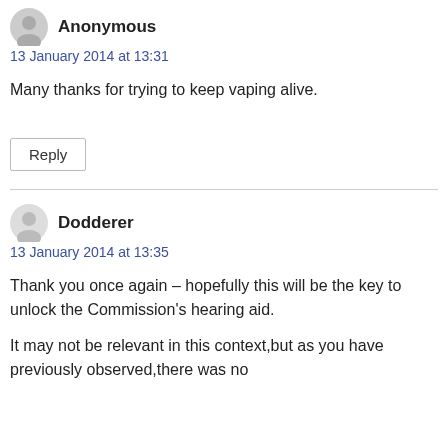Anonymous
13 January 2014 at 13:31
Many thanks for trying to keep vaping alive.
Reply
Dodderer
13 January 2014 at 13:35
Thank you once again – hopefully this will be the key to unlock the Commission's hearing aid.
It may not be relevant in this context,but as you have previously observed,there was no